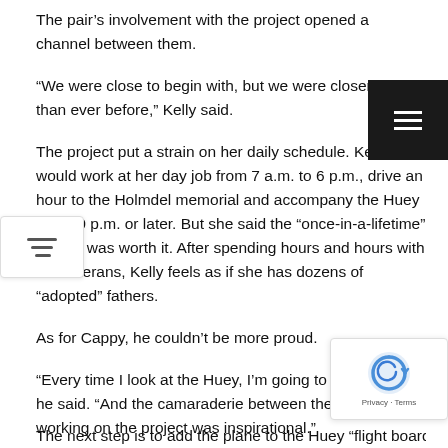The pair’s involvement with the project opened a channel between them.
“We were close to begin with, but we were closer now than ever before,” Kelly said.
The project put a strain on her daily schedule. Kelly would work at her day job from 7 a.m. to 6 p.m., drive an hour to the Holmdel memorial and accompany the Huey until 10 p.m. or later. But she said the “once-in-a-lifetime” project was worth it. After spending hours and hours with the veterans, Kelly feels as if she has dozens of “adopted” fathers.
As for Cappy, he couldn’t be more proud.
“Every time I look at the Huey, I’m going to think of her,” he said. “And the camaraderie between the veterans working on the project was inspirational.”
The next step is to add the plane to the Huey “flight board.” Pertaining the